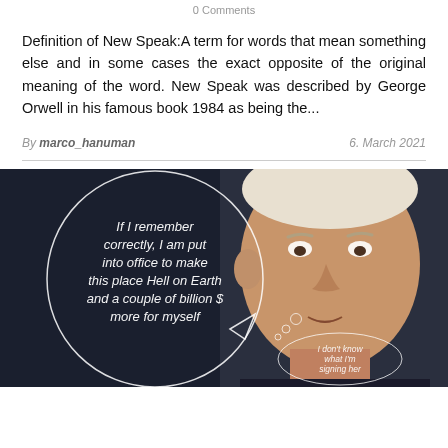0 Comments
Definition of New Speak:A term for words that mean something else and in some cases the exact opposite of the original meaning of the word. New Speak was described by George Orwell in his famous book 1984 as being the...
By marco_hanuman   6. March 2021
[Figure (photo): Dark background photo of an older man with a speech bubble reading: 'If I remember correctly, I am put into office to make this place Hell on Earth and a couple of billion $ more for myself' and a smaller thought bubble reading: 'I don't know what I'm signing her']